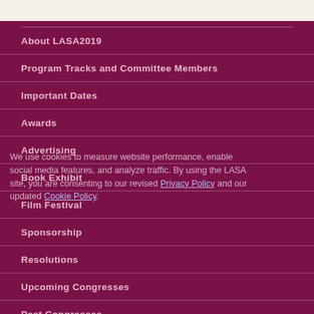About LASA2019
Program Tracks and Committee Members
Important Dates
Awards
Advertising
Book Exhibit
Film Festival
Sponsorship
Resolutions
Upcoming Congresses
Past Congresses
We use cookies to measure website performance, enable social media features, and analyze traffic. By using the LASA site, you are consenting to our revised Privacy Policy and our updated Cookie Policy.